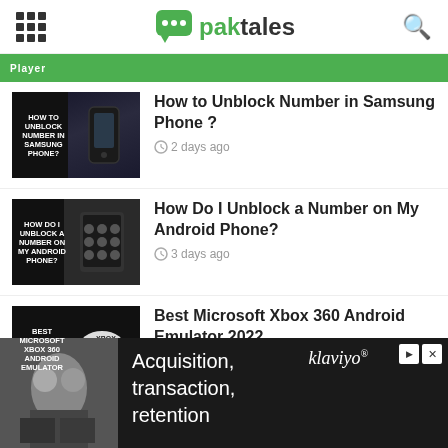paktales
[Figure (screenshot): Partially visible green banner strip at top of article list]
How to Unblock Number in Samsung Phone ? — 2 days ago
How Do I Unblock a Number on My Android Phone? — 3 days ago
Best Microsoft Xbox 360 Android Emulator 2022 — 7 days ago
[Figure (screenshot): Advertisement banner: Acquisition, transaction, retention — klaviyo]